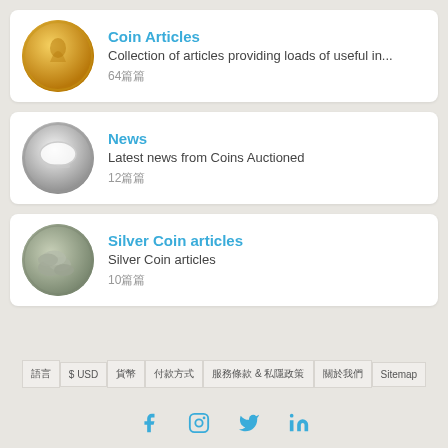[Figure (photo): Gold coin image — circular, gold colored]
Coin Articles
Collection of articles providing loads of useful in...
64篇
[Figure (photo): Silver commemorative coin image]
News
Latest news from Coins Auctioned
12篇
[Figure (photo): Ancient silver coins pile image]
Silver Coin articles
Silver Coin articles
10篇
語言 $ USD 貨幣 付款方式 服務條款 & 私隱政策 關於我們 Sitemap
f  Instagram  Twitter  in